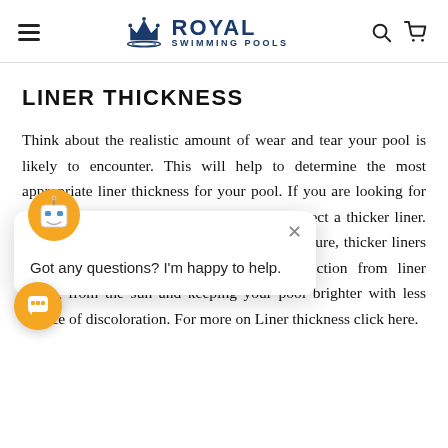ROYAL SWIMMING POOLS
LINER THICKNESS
Think about the realistic amount of wear and tear your pool is likely to encounter. This will help to determine the most appropriate liner thickness for your pool. If you are looking for longevity and durability, you will want to select a thicker liner. In addition to better resistance to tear or puncture, thicker liners have other advantages. They provide protection from liner fading from the sun and keeping your pool brighter with less chance of discoloration. For more on Liner thickness click here.
[Figure (screenshot): Chat widget popup with robot mascot avatar saying 'Got any questions? I'm happy to help.' with a close (×) button]
[Figure (other): Orange circular chat bubble button in bottom-left corner]